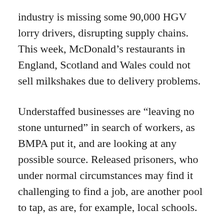industry is missing some 90,000 HGV lorry drivers, disrupting supply chains. This week, McDonald's restaurants in England, Scotland and Wales could not sell milkshakes due to delivery problems.
Understaffed businesses are “leaving no stone unturned” in search of workers, as BMPA put it, and are looking at any possible source. Released prisoners, who under normal circumstances may find it challenging to find a job, are another pool to tap, as are, for example, local schools.
While the Ministry of Justice touted employment of prisoners serving time as beneficial to them, saying it “makes it much less